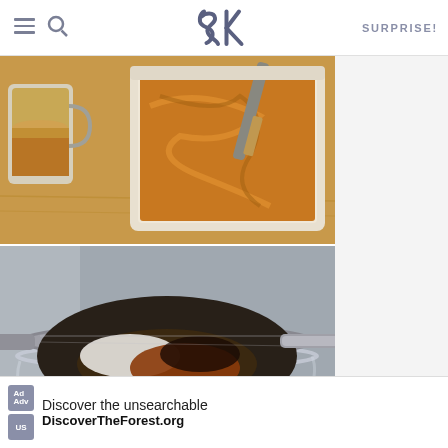SK — Smitten Kitchen — SURPRISE!
[Figure (photo): Coffee mug and baking dish with caramel-colored batter being spread, on a wooden surface]
[Figure (photo): Metal sieve/strainer held over a stainless steel mixing bowl, containing cocoa powder and flour mixture]
[Figure (photo): Partial view of another cooking step, partially obscured by advertisement]
[Figure (other): Advertisement banner: Discover the unsearchable — DiscoverTheForest.org, with hikers in forest background]